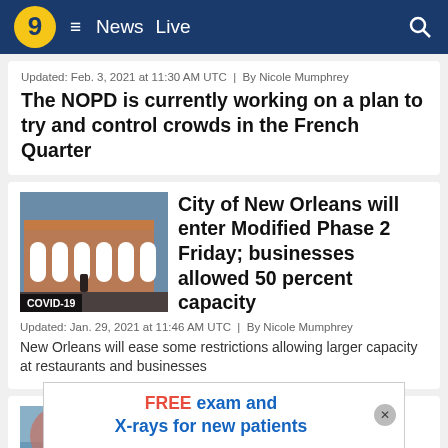9  ≡  News  Live  🔍
Updated: Feb. 3, 2021 at 11:30 AM UTC  |  By Nicole Mumphrey
The NOPD is currently working on a plan to try and control crowds in the French Quarter
[Figure (photo): Photo of French Quarter building with COVID-19 badge overlay]
City of New Orleans will enter Modified Phase 2 Friday; businesses allowed 50 percent capacity
Updated: Jan. 29, 2021 at 11:46 AM UTC  |  By Nicole Mumphrey
New Orleans will ease some restrictions allowing larger capacity at restaurants and businesses
[Figure (photo): TOP STORY badge photo]
New Orleans native
FREE exam and X-rays for new patients (advertisement)